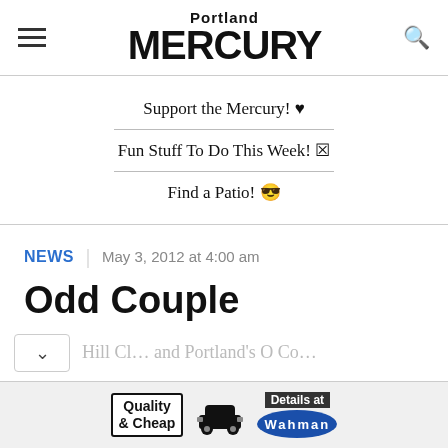Portland MERCURY
Support the Mercury! ♥
Fun Stuff To Do This Week! 🎫
Find a Patio! 😎
NEWS | May 3, 2012 at 4:00 am
Odd Couple
Hill Cl... and Portland's O Co...
[Figure (advertisement): Washman car wash advertisement: Quality & Cheap, car silhouette, Details at Washman logo]